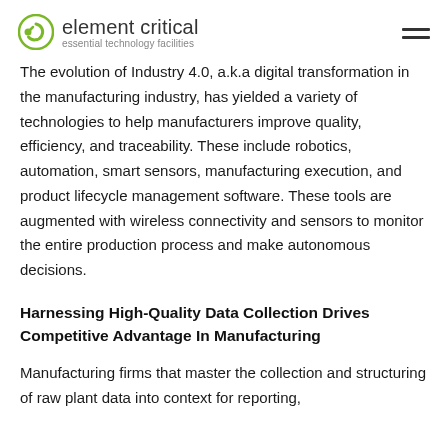element critical — essential technology facilities
The evolution of Industry 4.0, a.k.a digital transformation in the manufacturing industry, has yielded a variety of technologies to help manufacturers improve quality, efficiency, and traceability. These include robotics, automation, smart sensors, manufacturing execution, and product lifecycle management software. These tools are augmented with wireless connectivity and sensors to monitor the entire production process and make autonomous decisions.
Harnessing High-Quality Data Collection Drives Competitive Advantage In Manufacturing
Manufacturing firms that master the collection and structuring of raw plant data into context for reporting,